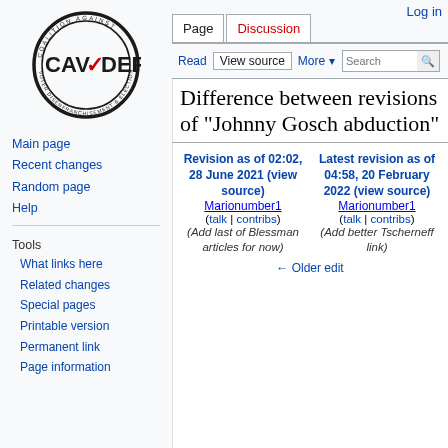Log in
[Figure (logo): CAVDEF Coalition Against Voter Disenfranchisement & Election Fraud circular logo with red checkmark]
Main page
Recent changes
Random page
Help
Tools
What links here
Related changes
Special pages
Printable version
Permanent link
Page information
Difference between revisions of "Johnny Gosch abduction"
Revision as of 02:02, 28 June 2021 (view source) Marionumber1 (talk | contribs) (Add last of Blessman articles for now)
Latest revision as of 04:58, 20 February 2022 (view source) Marionumber1 (talk | contribs) (Add better Tscherneff link)
← Older edit